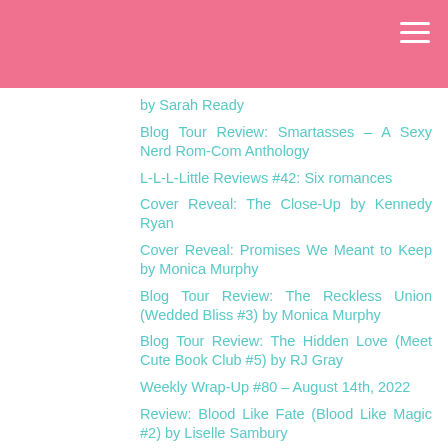by Sarah Ready
Blog Tour Review: Smartasses – A Sexy Nerd Rom-Com Anthology
L-L-L-Little Reviews #42: Six romances
Cover Reveal: The Close-Up by Kennedy Ryan
Cover Reveal: Promises We Meant to Keep by Monica Murphy
Blog Tour Review: The Reckless Union (Wedded Bliss #3) by Monica Murphy
Blog Tour Review: The Hidden Love (Meet Cute Book Club #5) by RJ Gray
Weekly Wrap-Up #80 – August 14th, 2022
Review: Blood Like Fate (Blood Like Magic #2) by Liselle Sambury
Cover Reveal: Ship Happens (Love At Sea #1) by Kate Stacy
Cover Reveal: The Hometown Dilemma (Meet Cute Book Club #7) by Julie Archer